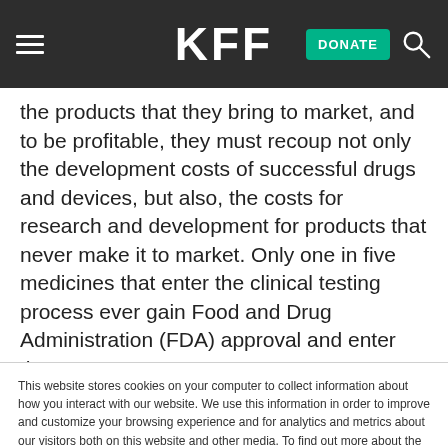KFF — DONATE
the products that they bring to market, and to be profitable, they must recoup not only the development costs of successful drugs and devices, but also, the costs for research and development for products that never make it to market. Only one in five medicines that enter the clinical testing process ever gain Food and Drug Administration (FDA) approval and enter the
This website stores cookies on your computer to collect information about how you interact with our website. We use this information in order to improve and customize your browsing experience and for analytics and metrics about our visitors both on this website and other media. To find out more about the cookies we use, see our Privacy Policy.
Accept